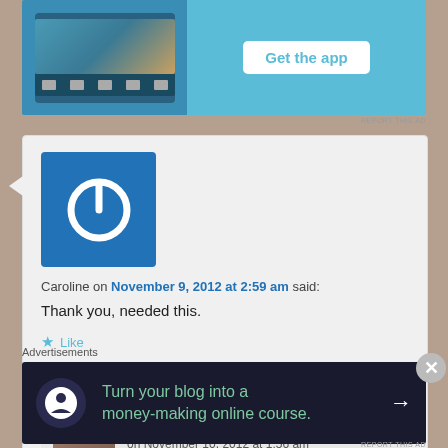[Figure (screenshot): Top advertisement banner with blue background showing a phone app screenshot and 'Get the app' button]
REPORT THIS AD
Caroline on November 9, 2012 at 2:59 am said:
Thank you, needed this.
★ Like
Reply ↓
Cherie Roe Dirksen
on November 10, 2012 at 1:56 am
Advertisements
[Figure (screenshot): Bottom dark advertisement: 'Turn your blog into a money-making online course.' with arrow]
REPORT THIS AD